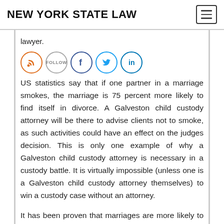NEW YORK STATE LAW
lawyer.
[Figure (other): Social media icons: RSS feed (orange), Follow button (grey), Facebook (blue), Twitter (blue), LinkedIn (blue)]
US statistics say that if one partner in a marriage smokes, the marriage is 75 percent more likely to find itself in divorce. A Galveston child custody attorney will be there to advise clients not to smoke, as such activities could have an effect on the judges decision. This is only one example of why a Galveston child custody attorney is necessary in a custody battle. It is virtually impossible (unless one is a Galveston child custody attorney themselves) to win a custody case without an attorney.
It has been proven that marriages are more likely to endure more time when a couple marries at an older